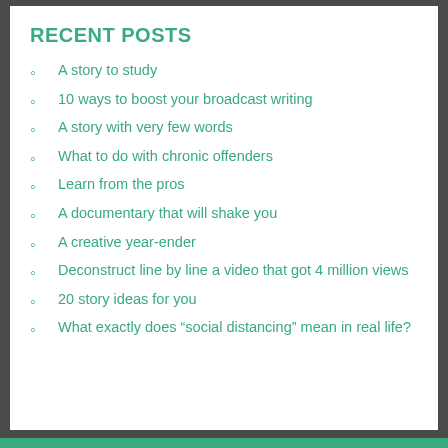RECENT POSTS
A story to study
10 ways to boost your broadcast writing
A story with very few words
What to do with chronic offenders
Learn from the pros
A documentary that will shake you
A creative year-ender
Deconstruct line by line a video that got 4 million views
20 story ideas for you
What exactly does “social distancing” mean in real life?